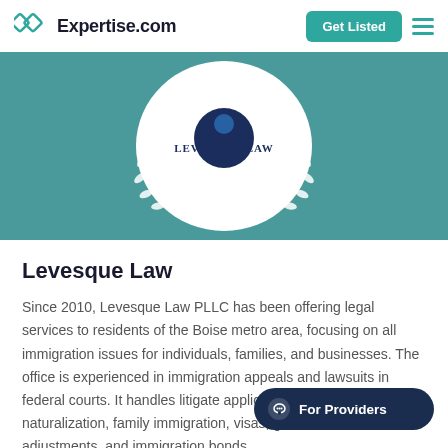Expertise.com | Get Listed
[Figure (logo): Levesque Law PLLC logo — circular laurel wreath badge with navy circle and text 'LEVESQUE LAW PLLC' on a teal background banner]
Levesque Law
Since 2010, Levesque Law PLLC has been offering legal services to residents of the Boise metro area, focusing on all immigration issues for individuals, families, and businesses. The office is experienced in immigration appeals and lawsuits in federal courts. It handles litigate applications for asylum naturalization, family immigration, visas, green cards, adjustments, and immigration bonds.